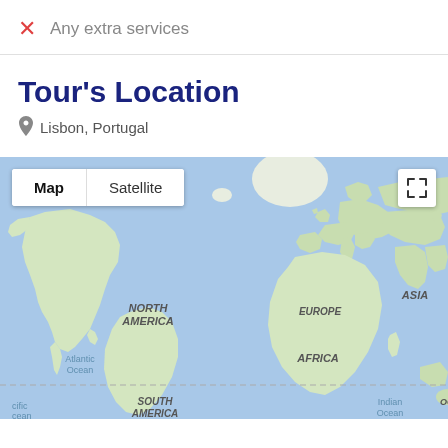Any extra services
Tour's Location
Lisbon, Portugal
[Figure (map): Google Maps world map showing continents including North America, South America, Europe, Africa, Asia, and Oceania with a Map/Satellite toggle button and fullscreen button. The map is centered showing the Atlantic Ocean with Europe and Africa visible in the center-right.]